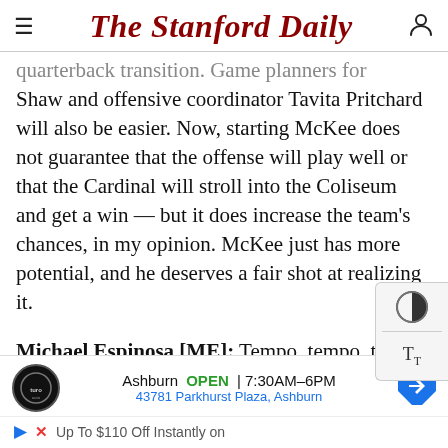The Stanford Daily
quarterback transition. Game planners for Shaw and offensive coordinator Tavita Pritchard will also be easier. Now, starting McKee does not guarantee that the offense will play well or that the Cardinal will stroll into the Coliseum and get a win — but it does increase the team's chances, in my opinion. McKee just has more potential, and he deserves a fair shot at realizing it.
Michael Espinosa [ME]: Tempo, tempo, tempo. Emmanuel Acho said at halftime on Saturday that the Cardinal couldn't get into a rhythm. Stanford was running a play only every 38 seconds, and twice we saw the team burn a timeout because
[Figure (infographic): Advertisement for Ashburn auto service. Shows Turo Auto logo, text: Ashburn OPEN 7:30AM–6PM, 43781 Parkhurst Plaza, Ashburn, with navigation arrow icon. Below: play button icon, close icon, and text 'Up To $110 Off Instantly on']